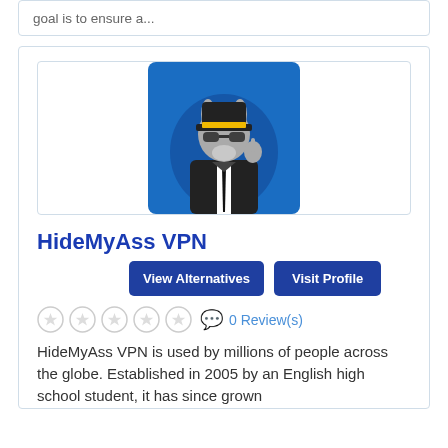goal is to ensure a...
[Figure (logo): HideMyAss VPN logo — cartoon donkey in suit and hat on blue background]
HideMyAss VPN
View Alternatives | Visit Profile
0 Review(s)
HideMyAss VPN is used by millions of people across the globe. Established in 2005 by an English high school student, it has since grown